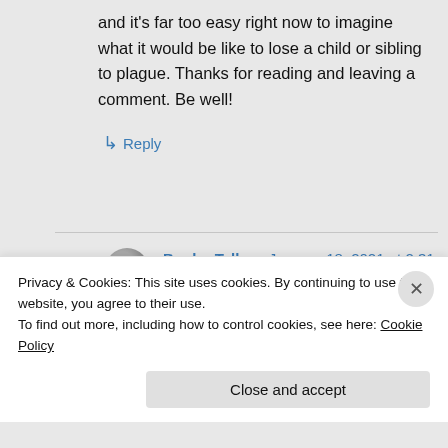and it's far too easy right now to imagine what it would be like to lose a child or sibling to plague. Thanks for reading and leaving a comment. Be well!
↳ Reply
BookerTalk on January 18, 2021 at 2:31 pm
Hope you stay safe too Deb
Privacy & Cookies: This site uses cookies. By continuing to use this website, you agree to their use.
To find out more, including how to control cookies, see here: Cookie Policy
Close and accept